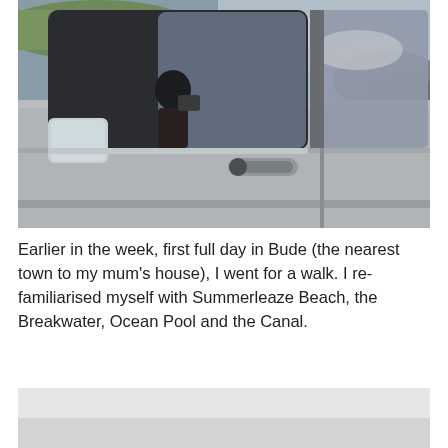[Figure (photo): Close-up photograph of the side of a silver car showing the driver's door window with a reflection of a person taking a photo. The background shows an overcast sky with hills and fields visible through the car window.]
Earlier in the week, first full day in Bude (the nearest town to my mum's house), I went for a walk. I re-familiarised myself with Summerleaze Beach, the Breakwater, Ocean Pool and the Canal.
[Figure (photo): Partial view of another photograph, mostly white/grey, appearing to be cut off at the bottom of the page.]